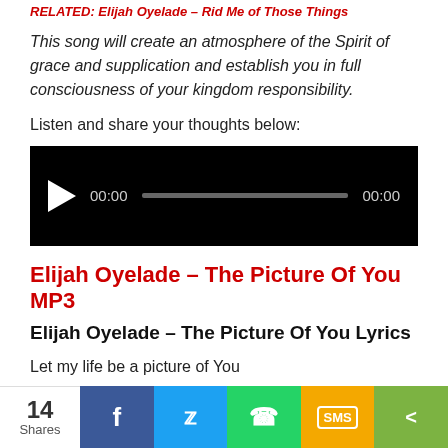RELATED: Elijah Oyelade – Rid Me of Those Things
This song will create an atmosphere of the Spirit of grace and supplication and establish you in full consciousness of your kingdom responsibility.
Listen and share your thoughts below:
[Figure (other): Audio player with black background, play button, time display 00:00, progress bar, and end time 00:00]
Elijah Oyelade – The Picture Of You MP3
Elijah Oyelade – The Picture Of You Lyrics
Let my life be a picture of You
A letter written by Your hand
14 Shares